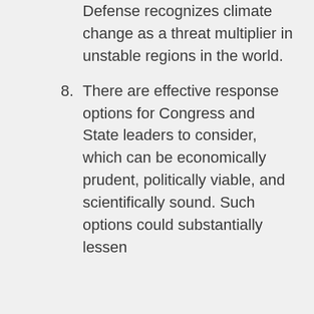Defense recognizes climate change as a threat multiplier in unstable regions in the world.
8. There are effective response options for Congress and State leaders to consider, which can be economically prudent, politically viable, and scientifically sound. Such options could substantially lessen